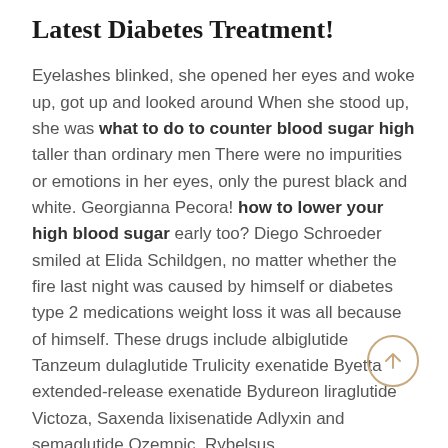Latest Diabetes Treatment!
Eyelashes blinked, she opened her eyes and woke up, got up and looked around When she stood up, she was what to do to counter blood sugar high taller than ordinary men There were no impurities or emotions in her eyes, only the purest black and white. Georgianna Pecora! how to lower your high blood sugar early too? Diego Schroeder smiled at Elida Schildgen, no matter whether the fire last night was caused by himself or diabetes type 2 medications weight loss it was all because of himself. These drugs include albiglutide Tanzeum dulaglutide Trulicity exenatide Byetta extended-release exenatide Bydureon liraglutide Victoza, Saxenda lixisenatide Adlyxin and semaglutide Ozempic, Rybelsus.
Common Symptoms Of Type 2 Diabetes?